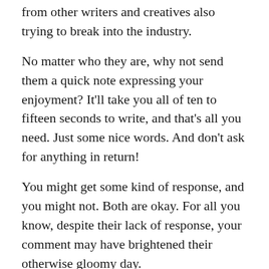from other writers and creatives also trying to break into the industry.
No matter who they are, why not send them a quick note expressing your enjoyment? It'll take you all of ten to fifteen seconds to write, and that's all you need. Just some nice words. And don't ask for anything in return!
You might get some kind of response, and you might not. Both are okay. For all you know, despite their lack of response, your comment may have brightened their otherwise gloomy day.
The important thing is you let a fellow writer/creative know that their work had a positive impact on you.